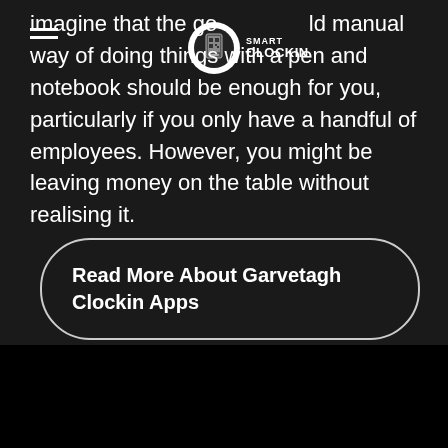imagine that the good old manual way of doing things with a pen and notebook should be enough for you, particularly if you only have a handful of employees. However, you might be leaving money on the table without realising it.
[Figure (logo): Smart Clockin logo — circular icon with phone/QR code graphic and text 'SMART CLOCKIN']
Read More About Garvetagh Clockin Apps